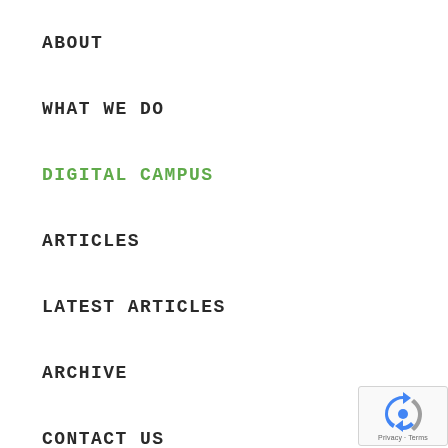ABOUT
WHAT WE DO
DIGITAL CAMPUS
ARTICLES
LATEST ARTICLES
ARCHIVE
CONTACT US
EMAIL
CALL
FACEBOOK
[Figure (logo): Google reCAPTCHA badge with recycling arrow icon and Privacy - Terms text]